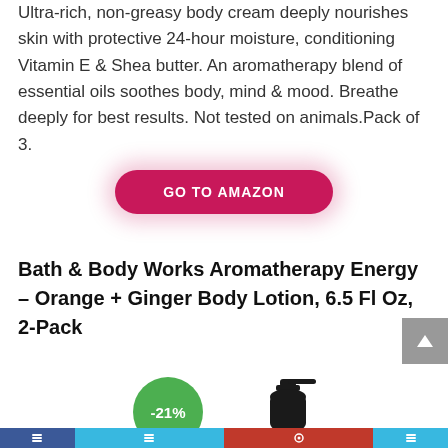Ultra-rich, non-greasy body cream deeply nourishes skin with protective 24-hour moisture, conditioning Vitamin E & Shea butter. An aromatherapy blend of essential oils soothes body, mind & mood. Breathe deeply for best results. Not tested on animals.Pack of 3.
[Figure (other): GO TO AMAZON button — crimson pill-shaped button with pink glow shadow]
Bath & Body Works Aromatherapy Energy – Orange + Ginger Body Lotion, 6.5 Fl Oz, 2-Pack
[Figure (other): Product image area showing -21% green discount badge and two black pump lotion bottles partially visible]
[Figure (other): Bottom navigation/social share bar with dark blue, light blue, red, and light blue segments]